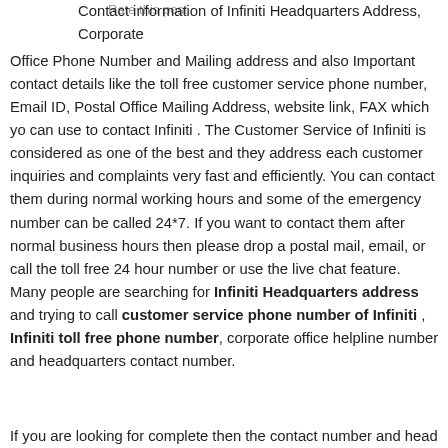Rate this post
Contact information of Infiniti Headquarters Address, Corporate Office Phone Number and Mailing address and also Important contact details like the toll free customer service phone number, Email ID, Postal Office Mailing Address, website link, FAX which yo can use to contact Infiniti . The Customer Service of Infiniti is considered as one of the best and they address each customer inquiries and complaints very fast and efficiently. You can contact them during normal working hours and some of the emergency number can be called 24*7. If you want to contact them after normal business hours then please drop a postal mail, email, or call the toll free 24 hour number or use the live chat feature. Many people are searching for Infiniti Headquarters address and trying to call customer service phone number of Infiniti , Infiniti toll free phone number, corporate office helpline number and headquarters contact number.
If you are looking for complete then the contact number and head...